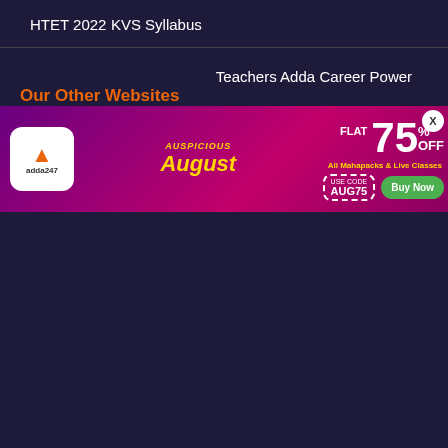HTET 2022
KVS Syllabus
Our Other Websites
Teachers Adda
Career Power
Bankers Adda
Adda Malayalam
Adda Jobs
Current Affairs
Adda Tamil
SSC Adda
Adda...
Adda...
Adda...
[Figure (infographic): Adda247 promotional banner: Flat 75% OFF on All Mahapacks & Live Classes, Auspicious August. Use code AUG75. Buy Now button.]